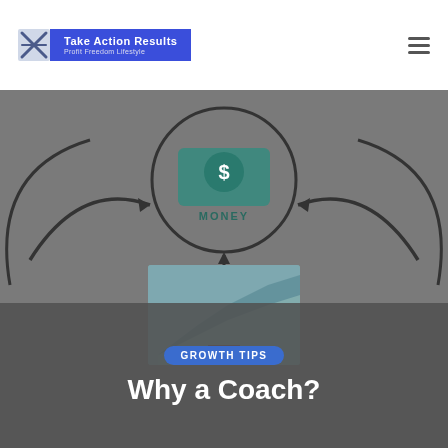Take Action Results — Profit Freedom Lifestyle
[Figure (infographic): Circular diagram with a money icon in the center circle, arrows pointing inward from left and right, and a vertical double-headed arrow pointing downward, on a grey background]
[Figure (photo): Thumbnail image of a growth/chart graphic partially visible]
GROWTH TIPS
Why a Coach?